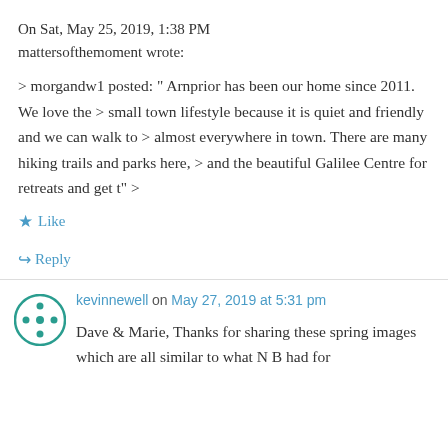On Sat, May 25, 2019, 1:38 PM mattersofthemoment wrote:
> morgandw1 posted: " Arnprior has been our home since 2011. We love the > small town lifestyle because it is quiet and friendly and we can walk to > almost everywhere in town. There are many hiking trails and parks here, > and the beautiful Galilee Centre for retreats and get t" >
★ Like
↳ Reply
kevinnewell on May 27, 2019 at 5:31 pm
Dave & Marie, Thanks for sharing these spring images which are all similar to what N B had for